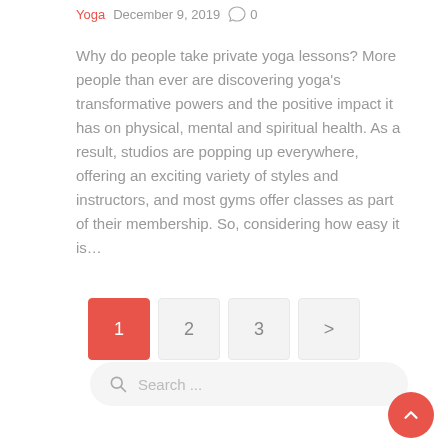Yoga   December 9, 2019   0
Why do people take private yoga lessons? More people than ever are discovering yoga's transformative powers and the positive impact it has on physical, mental and spiritual health. As a result, studios are popping up everywhere, offering an exciting variety of styles and instructors, and most gyms offer classes as part of their membership. So, considering how easy it is…
1  2  3  >
Search ...